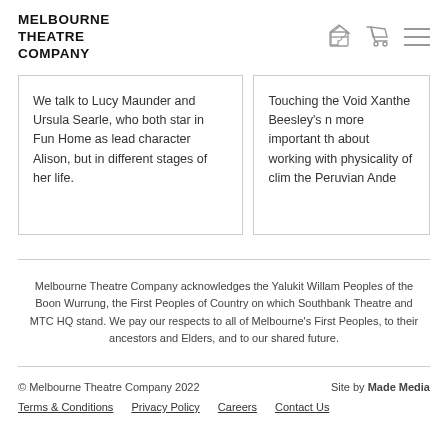MELBOURNE THEATRE COMPANY
We talk to Lucy Maunder and Ursula Searle, who both star in Fun Home as lead character Alison, but in different stages of her life.
Touching the Void Xanthe Beesley's more important th about working with physicality of clim the Peruvian Ande
Melbourne Theatre Company acknowledges the Yalukit Willam Peoples of the Boon Wurrung, the First Peoples of Country on which Southbank Theatre and MTC HQ stand. We pay our respects to all of Melbourne's First Peoples, to their ancestors and Elders, and to our shared future.
© Melbourne Theatre Company 2022   Site by Made Media
Terms & Conditions   Privacy Policy   Careers   Contact Us